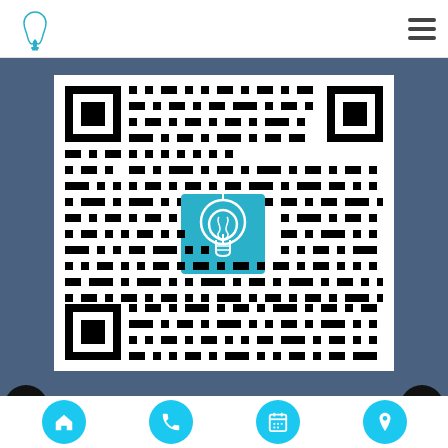[Figure (logo): Dental clinic logo with tooth/implant icon and small text beneath]
[Figure (other): QR code with a blue lightbulb/medical symbol center icon, on a dark blue background, for scanning the Dental Implants page on mobile]
Scan here to view this page, Dental Implants, on mobile
[Figure (infographic): Bottom navigation bar with four cyan circular icon buttons: home, phone, calendar, location pin]